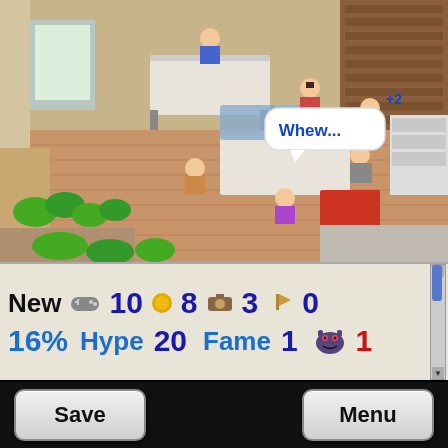[Figure (screenshot): Isometric pixel-art game scene showing an office/studio interior with animated characters, desks, computers, shelving units, indoor plants, and a speech bubble saying 'Whew...' with a '+2' indicator floating above a character. Green bushes and paths visible outside. Brown wooden floor tiles throughout the office space.]
New 10 8 3 0 16% Hype 20 Fame 1 1
[Figure (screenshot): Game HUD bar showing: New with gamepad icon, 10 with coin icon, 8 with camera icon, 3 with trophy icon, 0; second row: 16% in blue, Hype 20, Fame 1, monster icon, 1 in red. Scrollbar on right.]
[Figure (screenshot): Bottom button bar with Save button on left and Menu button on right, both with rounded rectangle styling on black background.]